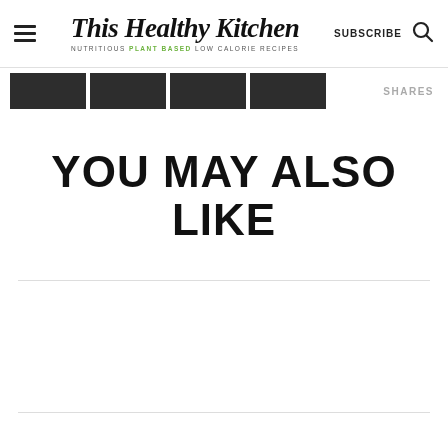This Healthy Kitchen — NUTRITIOUS PLANT BASED LOW CALORIE RECIPES | SUBSCRIBE
[Figure (screenshot): Social share buttons bar with 4 dark rectangular share buttons and SHARES label on the right]
YOU MAY ALSO LIKE